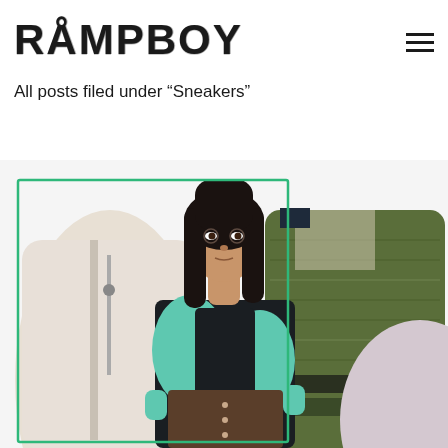RAMPBOY
All posts filed under “Sneakers”
[Figure (photo): Fashion editorial photo showing a model with long dark hair wearing a dark shirt with teal/green colorblock design top, surrounded by clothing items including a cream zip-up jacket on the left and a green patterned vest/jacket on the right, with a green border frame overlay. Set against a white background.]